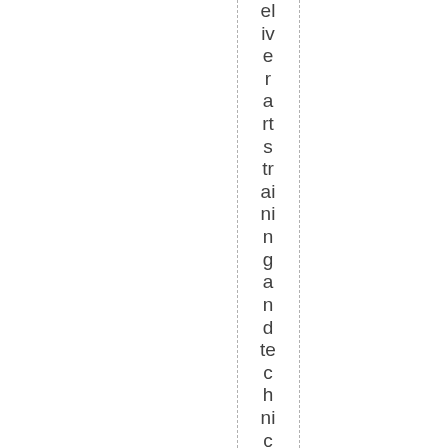eliver arts training and technical assist